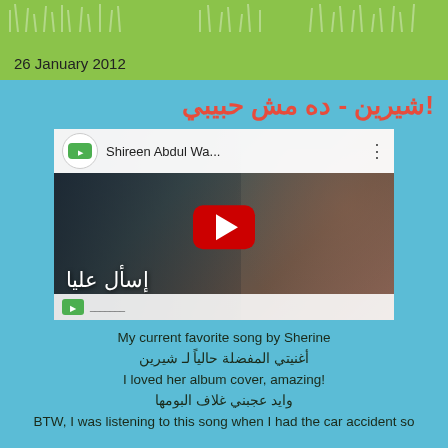26 January 2012
شيرين - ده مش حبيبي!
[Figure (screenshot): Embedded YouTube video thumbnail showing Shireen Abdul Wahab album cover with Arabic text 'إسأل عليا' and a YouTube play button overlay. Video title shows 'Shireen Abdul Wa...']
My current favorite song by Sherine
أغنيتي المفضلة حالياً لـ شيرين
I loved her album cover, amazing!
وايد عجبني غلاف البومها
BTW, I was listening to this song when I had the car accident so